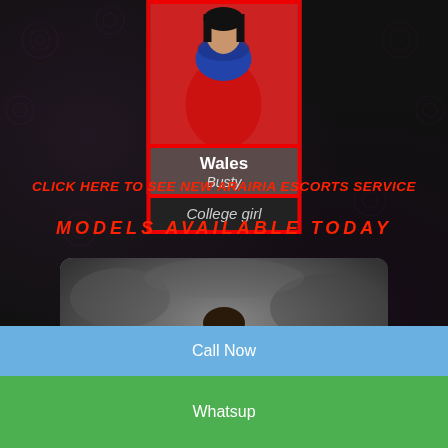[Figure (photo): Woman in red saree and blue blouse, photo card with red border]
Wales
Busty
College girl
CLICK HERE TO SEE NEW ARAIRIA ESCORTS SERVICE
MODELS AVAILABLE TODAY
[Figure (photo): Woman with long hair standing outdoors with blurred background]
Call Now
Whatsup